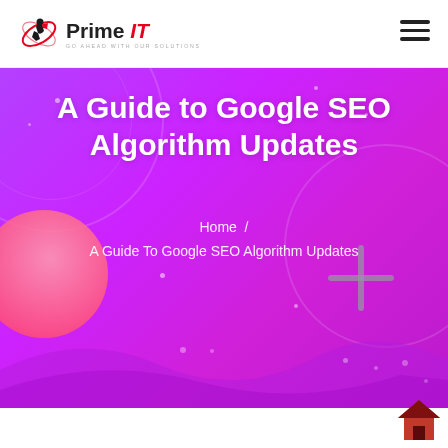[Figure (logo): Prime IT logo with red stylized figure and text 'Prime IT GO AHEAD WITH OUR SOLUTIONS']
A Guide to Google SEO Algorithm Updates
Home / A Guide To Google SEO Algorithm Updates